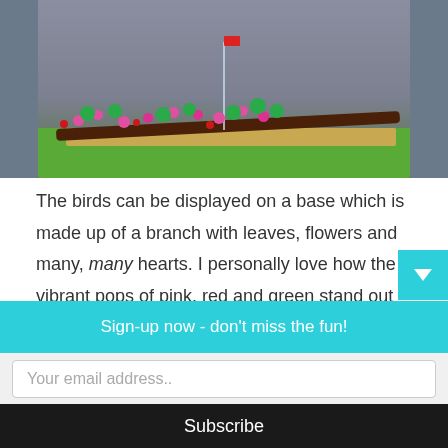[Figure (photo): Photo of a LEGO construction on green grass — a branch with pink hearts, green leaves and red berries on a tan base, with a transparent pole topped by a small red flag, against a grey background.]
The birds can be displayed on a base which is made up of a branch with leaves, flowers and many, many hearts. I personally love how the vibrant pops of pink, red and green stand out against the dark brown branch. Oh, and if the
Sign-up now - don't miss the fun!
Your email address..
Subscribe